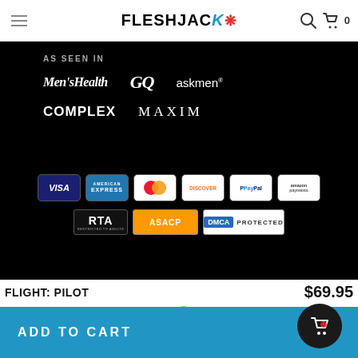FLESHJACK
[Figure (logo): Fleshjack logo with maple leaf]
AS SEEN IN
[Figure (infographic): Media logos: Men's Health, GQ, askmen, COMPLEX, MAXIM]
[Figure (infographic): Payment method icons: VISA, American Express, Mastercard, Discover, PayPal, Amazon Payments]
[Figure (infographic): Trust badges: RTA, ASACP, DMCA PROTECTED]
FLIGHT: PILOT
$69.95
or 4 interest-free payments of $17.49 with Sezzle
ADD TO CART